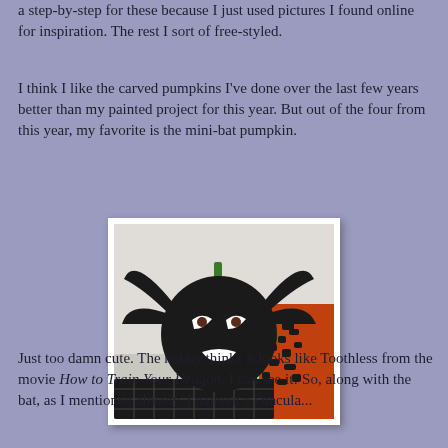a step-by-step for these because I just used pictures I found online for inspiration.  The rest I sort of free-styled.
I think I like the carved pumpkins I've done over the last few years better than my painted project for this year.  But out of the four from this year, my favorite is the mini-bat pumpkin.
[Figure (photo): A black painted mini pumpkin decorated as a bat, with black bat wings attached on both sides, white angry-looking eyes with brown pupils, and a white smirking mouth. The pumpkin sits on a dark surface next to orange and black decorative material.]
Just too damn cute.  The hubby thinks it looks like Toothless from the movie How to Train Your Dragon.  I can see it!  So, along with the bat, as I mentioned already, I painted a Dracula...